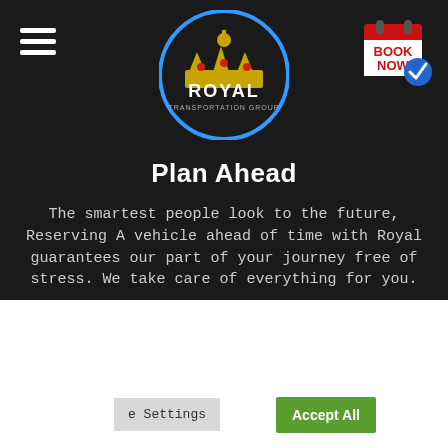[Figure (logo): Royal Transportation Group logo — circular badge with crown and blue circle border, text ROYAL TRANSPORTATION GROUP]
[Figure (other): Book Now button — calendar icon with BOOK NOW text and blue checkmark]
Plan Ahead
The smartest people look to the future, Reserving A vehicle ahead of time with Royal guarantees our part of your journey free of stress. We take care of everything for you.
We use cookies on our website to give you the most relevant experience by remembering your preferences and repeat visits. By clicking "Accept All", you consent to the use of ALL the cookies. However, you may visit "Cookie Settings" to provide a controlled consent.